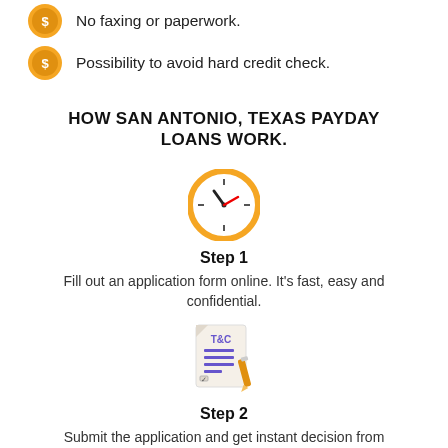No faxing or paperwork.
Possibility to avoid hard credit check.
HOW SAN ANTONIO, TEXAS PAYDAY LOANS WORK.
[Figure (illustration): Orange circle clock icon representing fast processing time]
Step 1
Fill out an application form online. It's fast, easy and confidential.
[Figure (illustration): Terms and conditions document icon with a pencil]
Step 2
Submit the application and get instant decision from